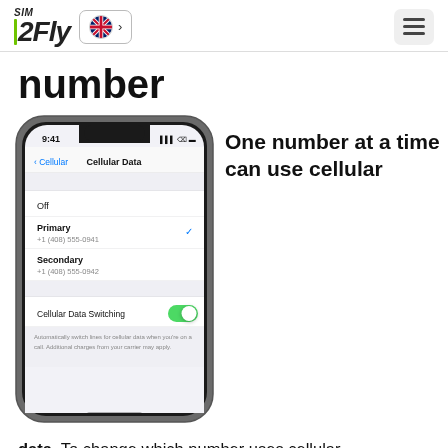SIM2FLY | EN > | (menu)
number
[Figure (screenshot): iPhone X mockup showing iOS Cellular Data settings screen with Primary (+1 (408) 555-0941, checked) and Secondary (+1 (408) 555-0942) numbers, and Cellular Data Switching toggle turned on (green). Status bar shows 9:41.]
One number at a time can use cellular
data. To change which number uses cellular